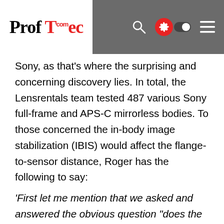ProfTec.com
Sony, as that's where the surprising and concerning discovery lies. In total, the Lensrentals team tested 487 various Sony full-frame and APS-C mirrorless bodies. To those concerned the in-body image stabilization (IBIS) would affect the flange-to-sensor distance, Roger has the following to say:
‘First let me mention that we asked and answered the obvious question “does the IBIS system change the flange-to-sensor distance.”